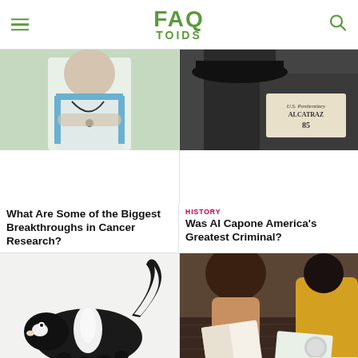FAQ TOIDS
[Figure (photo): A nurse or doctor in uniform, arms crossed, stethoscope around neck]
What Are Some of the Biggest Breakthroughs in Cancer Research?
[Figure (photo): Black and white photo of a man with a U.S. Penitentiary Alcatraz number plate 85]
HISTORY
Was Al Capone America's Greatest Criminal?
[Figure (photo): A skunk on a white background]
LIFESTYLE
What Pets Have Been Banned in States Across the
[Figure (photo): Students studying at a wooden table with books and notebooks, overhead view]
KNOWLEDGE
What Are Some Science-Backed Study Tips to Help